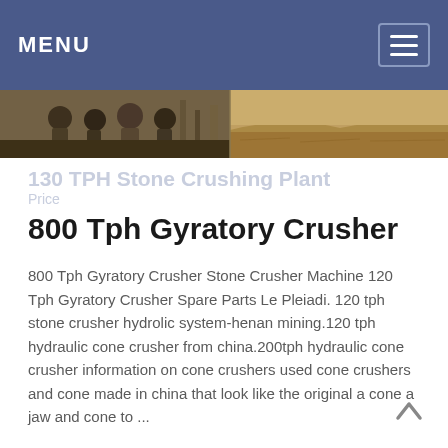MENU
[Figure (photo): Banner image showing construction/mining site workers and arid landscape]
130 TPH Stone Crushing Plant Price
800 Tph Gyratory Crusher
800 Tph Gyratory Crusher Stone Crusher Machine 120 Tph Gyratory Crusher Spare Parts Le Pleiadi. 120 tph stone crusher hydrolic system-henan mining.120 tph hydraulic cone crusher from china.200tph hydraulic cone crusher information on cone crushers used cone crushers and cone made in china that look like the original a cone a jaw and cone to ...